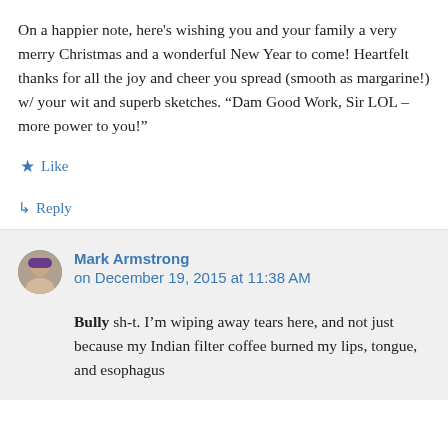On a happier note, here's wishing you and your family a very merry Christmas and a wonderful New Year to come! Heartfelt thanks for all the joy and cheer you spread (smooth as margarine!) w/ your wit and superb sketches. “Dam Good Work, Sir LOL – more power to you!”
Like
Reply
Mark Armstrong on December 19, 2015 at 11:38 AM
Bully sh-t. I’m wiping away tears here, and not just because my Indian filter coffee burned my lips, tongue, and esophagus